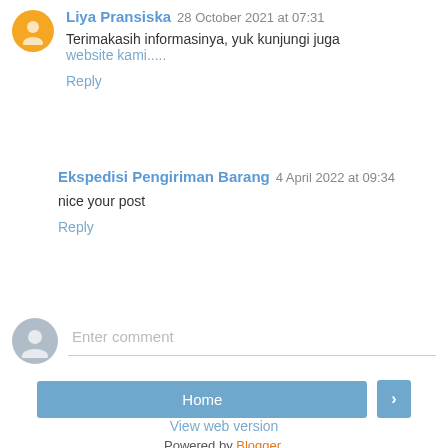Liya Pransiska 28 October 2021 at 07:31
Terimakasih informasinya, yuk kunjungi juga website kami.....
Reply
Ekspedisi Pengiriman Barang 4 April 2022 at 09:34
nice your post
Reply
[Figure (other): Comment input field with gray avatar placeholder and Enter comment text]
Home
View web version
Powered by Blogger.